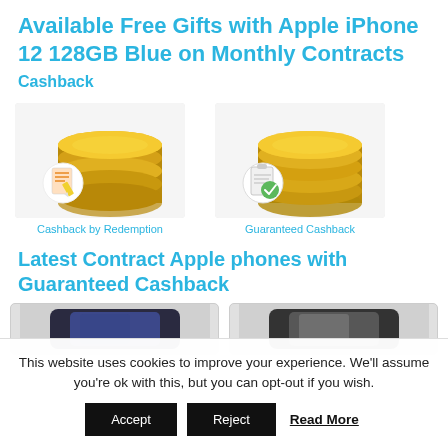Available Free Gifts with Apple iPhone 12 128GB Blue on Monthly Contracts
Cashback
[Figure (illustration): Stack of gold coins with a receipt/redemption icon overlay, labelled Cashback by Redemption]
Cashback by Redemption
[Figure (illustration): Stack of gold coins with a clipboard/checkmark icon overlay, labelled Guaranteed Cashback]
Guaranteed Cashback
Latest Contract Apple phones with Guaranteed Cashback
[Figure (photo): Partial view of a dark blue/purple smartphone (Apple iPhone)]
[Figure (photo): Partial view of a dark grey/graphite smartphone (Apple iPhone)]
This website uses cookies to improve your experience. We'll assume you're ok with this, but you can opt-out if you wish.
Accept | Reject | Read More